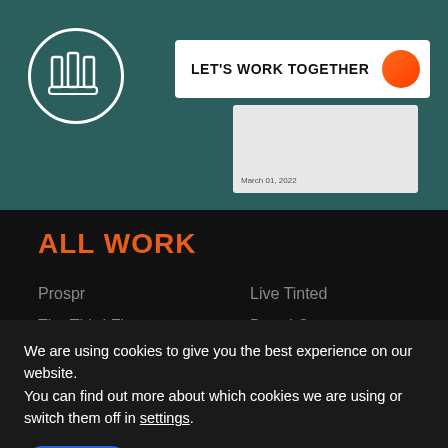[Figure (logo): Circular logo with white border and stylized icon inside on teal background]
LET'S WORK TOGETHER
ALL WORK
Prospr
The Third Floor
Blu Atlas
Kiki Milk
KRAVE Jerky
Live Tinted
Bored Cow
Irvins
The Pizza Cupcake
AutoBio
We are using cookies to give you the best experience on our website.
You can find out more about which cookies we are using or switch them off in settings.
Accept